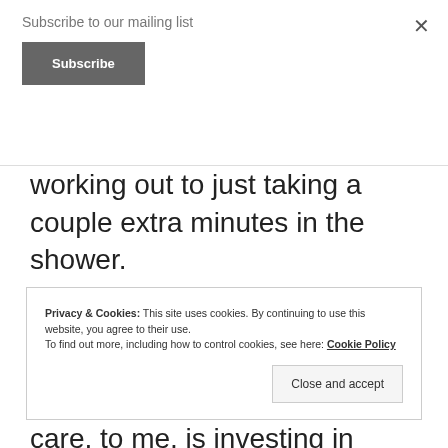Subscribe to our mailing list
Subscribe
×
wide range of things from working out to just taking a couple extra minutes in the shower.
During self-care time it is important
care, to me, is investing in yourself
Privacy & Cookies: This site uses cookies. By continuing to use this website, you agree to their use.
To find out more, including how to control cookies, see here: Cookie Policy
Close and accept